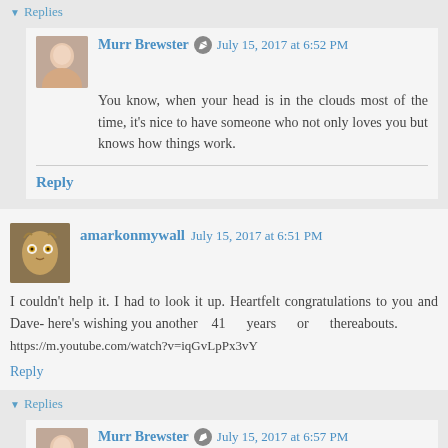▼ Replies
Murr Brewster ✏ July 15, 2017 at 6:52 PM
You know, when your head is in the clouds most of the time, it's nice to have someone who not only loves you but knows how things work.
Reply
amarkonmywall July 15, 2017 at 6:51 PM
I couldn't help it. I had to look it up. Heartfelt congratulations to you and Dave- here's wishing you another 41 years or thereabouts. https://m.youtube.com/watch?v=iqGvLpPx3vY
Reply
▼ Replies
Murr Brewster ✏ July 15, 2017 at 6:57 PM